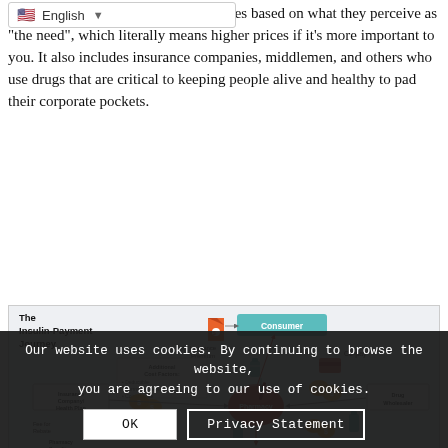ces based on what they perceive as “the need”, which literally means higher prices if it’s more important to you. It also includes insurance companies, middlemen, and others who use drugs that are critical to keeping people alive and healthy to pad their corporate pockets.
[Figure (infographic): The Insulin-Payment Journey infographic showing flow of payments between Consumer, Insurance Company/Health Plan, Pharmacy, Drug Wholesaler, and Pharmacy Benefit Manager, with elements including Insurance Premium, Co-pay, Additional Cost Factors (Deductible, Formulary Tiers, Coinsurance), Fee for Rebate, and Key Approved Payment flows. Features icons of mortar and pestle (Pharmacy), medicine bottles, credit card, insurance document, and dollar signs.]
Our website uses cookies. By continuing to browse the website, you are agreeing to our use of cookies.